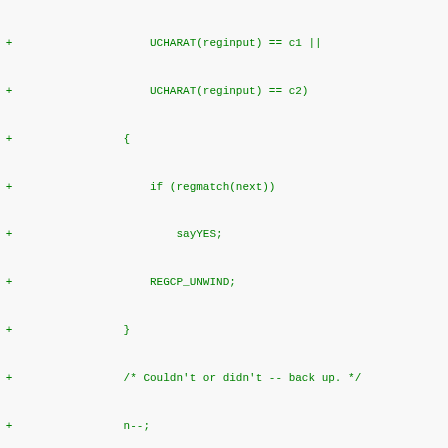[Figure (screenshot): A code diff showing modifications to a C source file with added lines in green (marked +), removed lines in red (marked -), and unchanged lines in black. The code involves regex matching logic with cases for SUCCEED, END, SUSPEND, UNLESSM, and IFMATCH.]